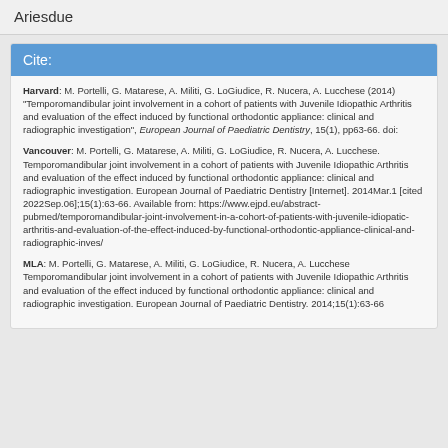Ariesdue
Cite:
Harvard: M. Portelli, G. Matarese, A. Militi, G. LoGiudice, R. Nucera, A. Lucchese (2014) "Temporomandibular joint involvement in a cohort of patients with Juvenile Idiopathic Arthritis and evaluation of the effect induced by functional orthodontic appliance: clinical and radiographic investigation", European Journal of Paediatric Dentistry, 15(1), pp63-66. doi:
Vancouver: M. Portelli, G. Matarese, A. Militi, G. LoGiudice, R. Nucera, A. Lucchese. Temporomandibular joint involvement in a cohort of patients with Juvenile Idiopathic Arthritis and evaluation of the effect induced by functional orthodontic appliance: clinical and radiographic investigation. European Journal of Paediatric Dentistry [Internet]. 2014Mar.1 [cited 2022Sep.06];15(1):63-66. Available from: https://www.ejpd.eu/abstract-pubmed/temporomandibular-joint-involvement-in-a-cohort-of-patients-with-juvenile-idiopatic-arthritis-and-evaluation-of-the-effect-induced-by-functional-orthodontic-appliance-clinical-and-radiographic-inves/
MLA: M. Portelli, G. Matarese, A. Militi, G. LoGiudice, R. Nucera, A. Lucchese Temporomandibular joint involvement in a cohort of patients with Juvenile Idiopathic Arthritis and evaluation of the effect induced by functional orthodontic appliance: clinical and radiographic investigation. European Journal of Paediatric Dentistry. 2014;15(1):63-66